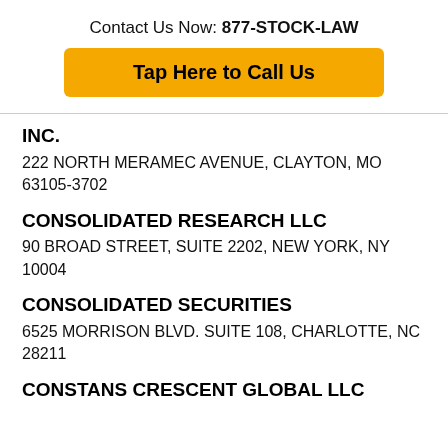Contact Us Now: 877-STOCK-LAW
Tap Here to Call Us
INC.
222 NORTH MERAMEC AVENUE, CLAYTON, MO 63105-3702
CONSOLIDATED RESEARCH LLC
90 BROAD STREET, SUITE 2202, NEW YORK, NY 10004
CONSOLIDATED SECURITIES
6525 MORRISON BLVD. SUITE 108, CHARLOTTE, NC 28211
CONSTANS CRESCENT GLOBAL LLC